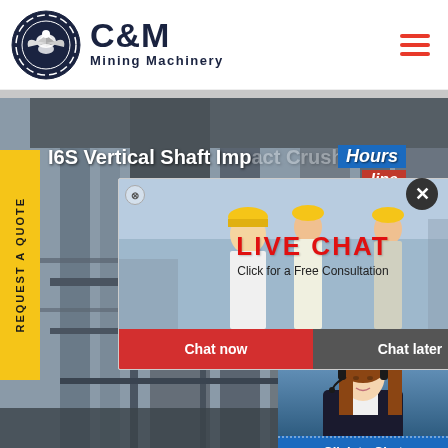[Figure (logo): C&M Mining Machinery logo with eagle/gear emblem in navy blue circle, bold C&M text and Mining Machinery subtitle]
I6S Vertical Shaft Impact Crusher
[Figure (photo): Industrial mining/processing plant photo with large grey machinery structures and pipes in muted tones]
REQUEST A QUOTE (vertical yellow tab on left side)
[Figure (screenshot): Live Chat popup overlay showing workers in hard hats, LIVE CHAT title in red, Click for a Free Consultation text, Chat now (red) and Chat later (grey) buttons]
[Figure (photo): Customer service agent photo (woman with headset) in right side chat widget with Click to Chat and Enquiry buttons in blue]
Hours
line
Click to Chat
Enquiry